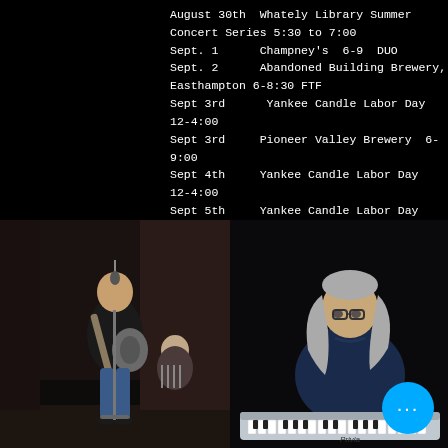August 30th  Whately Library Summer Concert Series 5:30 to 7:00
Sept. 1      Champney's  6-9  DUO
Sept. 2      Abandoned Building Brewery, Easthampton 6-8:30 FTF
Sept 3rd     Yankee Candle Labor Day  12-4:00
Sept 3rd     Pioneer Valley Brewery  6-9:00
Sept 4th     Yankee Candle Labor Day  12-4:00
Sept 5th     Yankee Candle Labor Day  12-4:00
Oct 8th      Yankee Candle Columbus Day  12-4:00
Oct 9th      Yankee Candle Columbus Day  12-4:00
Oct 10th     Yankee Candle Columbus Day  12-4:00
Nov. 20th    Yankee Candle Tree Lighting 3:30-5:30
[Figure (photo): Left photo: man standing playing guitar at microphone stand, another person seated in background on stage]
[Figure (photo): Right photo: man with long gray hair and glasses playing a Casio Privia keyboard, wearing dark blue shirt]